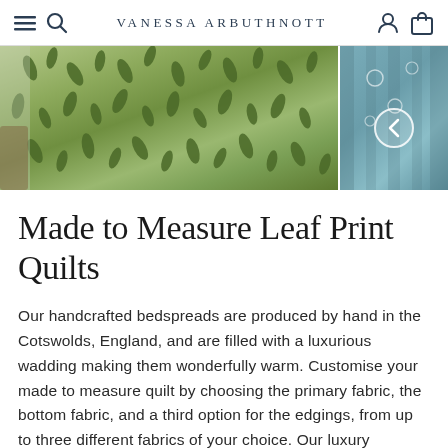VANESSA ARBUTHNOTT
[Figure (photo): Product photo showing a green leaf print quilt/bedspread draped over a bed frame on the left, and a teal/blue fabric with circular pattern on the right with a navigation arrow overlay]
Made to Measure Leaf Print Quilts
Our handcrafted bedspreads are produced by hand in the Cotswolds, England, and are filled with a luxurious wadding making them wonderfully warm. Customise your made to measure quilt by choosing the primary fabric, the bottom fabric, and a third option for the edgings, from up to three different fabrics of your choice. Our luxury bedspreads and quilts are made to order, so delivery can take up to 8 weeks from payment (lead times are subject to